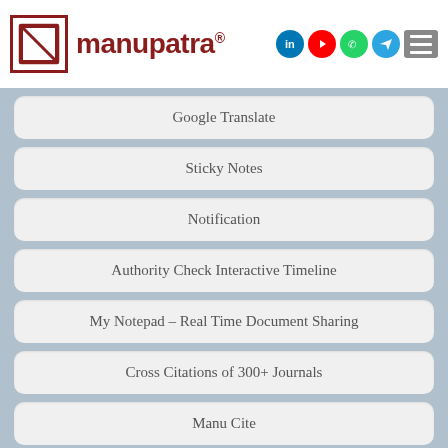[Figure (logo): Manupatra logo with red border square icon and brand name text with registered trademark symbol, plus social media icons (LinkedIn, YouTube, WhatsApp, Telegram) and hamburger menu]
Google Translate
Sticky Notes
Notification
Authority Check Interactive Timeline
My Notepad - Real Time Document Sharing
Cross Citations of 300+ Journals
Manu Cite
Cited in Manupatra